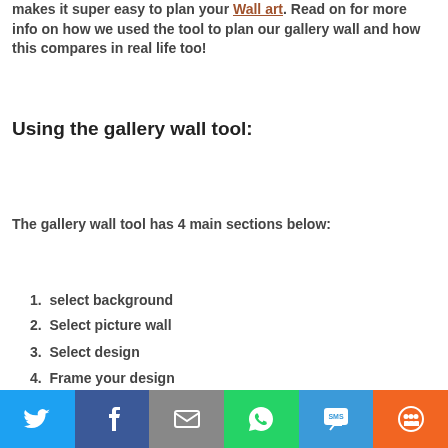makes it super easy to plan your Wall art. Read on for more info on how we used the tool to plan our gallery wall and how this compares in real life too!
Using the gallery wall tool:
The gallery wall tool has 4 main sections below:
1. select background
2. Select picture wall
3. Select design
4. Frame your design
I was able to choose a background which looked most
[Figure (infographic): Social sharing bar with Twitter, Facebook, Email, WhatsApp, SMS, and More buttons]